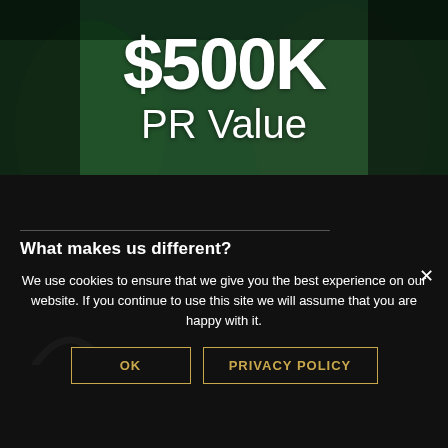[Figure (photo): Hero banner image with green-tinted overlay showing two people in front of a brick wall, with large white text '$500K PR Value' overlaid]
$500K
PR Value
What makes us different?
[Figure (illustration): White arc/semicircle icon at bottom left of dark section]
We use cookies to ensure that we give you the best experience on our website. If you continue to use this site we will assume that you are happy with it.